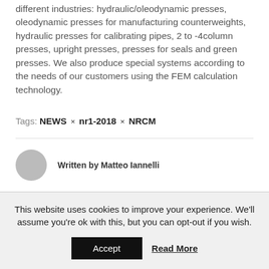different industries: hydraulic/oleodynamic presses, oleodynamic presses for manufacturing counterweights, hydraulic presses for calibrating pipes, 2 to -4column presses, upright presses, presses for seals and green presses. We also produce special systems according to the needs of our customers using the FEM calculation technology.
Tags: NEWS × nr1-2018 × NRCM
Written by Matteo Iannelli
This website uses cookies to improve your experience. We'll assume you're ok with this, but you can opt-out if you wish.